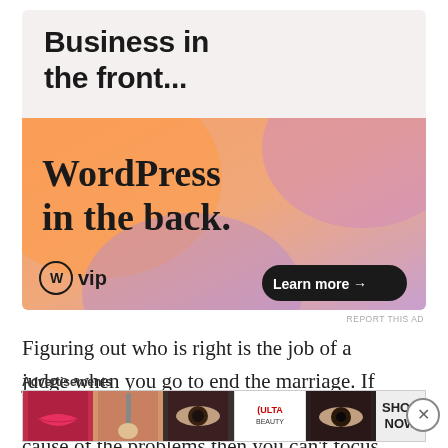[Figure (illustration): WordPress VIP advertisement banner. Top section on light pinkish-gray background reads 'Business in the front...' in large bold sans-serif. Below is an orange-to-purple gradient section with text 'WordPress in the back.' and WordPress VIP logo on the left, and a 'Learn more →' button on the right.]
Figuring out who is right is the job of a judge when you go to end the marriage. If you are stuck on making your partner the cause of the problems then you can't focus on
Advertisements
[Figure (illustration): ULTA Beauty advertisement banner showing close-up images of lips with lipstick, a makeup brush on a face, an eye with dramatic makeup, the ULTA Beauty logo, another dramatic eye closeup, and a 'SHOP NOW' text panel.]